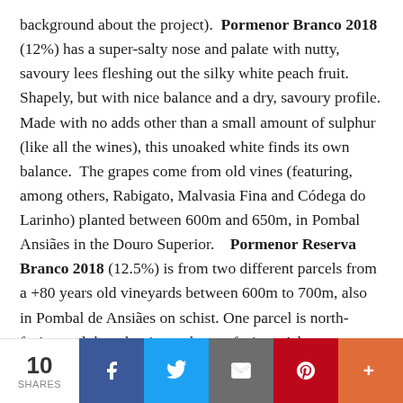background about the project). Pormenor Branco 2018 (12%) has a super-salty nose and palate with nutty, savoury lees fleshing out the silky white peach fruit. Shapely, but with nice balance and a dry, savoury profile. Made with no adds other than a small amount of sulphur (like all the wines), this unoaked white finds its own balance. The grapes come from old vines (featuring, among others, Rabigato, Malvasia Fina and Códega do Larinho) planted between 600m and 650m, in Pombal Ansiães in the Douro Superior. Pormenor Reserva Branco 2018 (12.5%) is from two different parcels from a +80 years old vineyards between 600m to 700m, also in Pombal de Ansiães on schist. One parcel is north-facing and the other is south-east-facing. A key difference is that
10 SHARES | Facebook | Twitter | Email | Pinterest | More